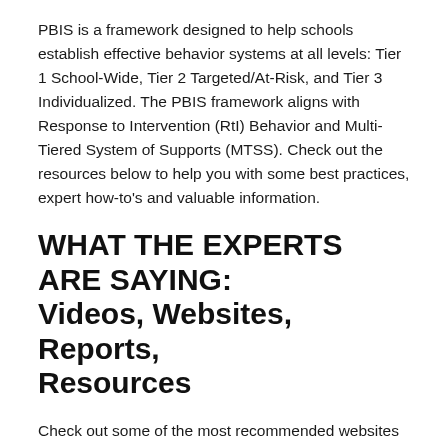PBIS is a framework designed to help schools establish effective behavior systems at all levels: Tier 1 School-Wide, Tier 2 Targeted/At-Risk, and Tier 3 Individualized. The PBIS framework aligns with Response to Intervention (RtI) Behavior and Multi-Tiered System of Supports (MTSS). Check out the resources below to help you with some best practices, expert how-to's and valuable information.
WHAT THE EXPERTS ARE SAYING: Videos, Websites, Reports, Resources
Check out some of the most recommended websites and established organizations in the field of PBIS!
Cal Stat: PBIS Core Message Area
A great tool! What you may need to know when you are preparing for...